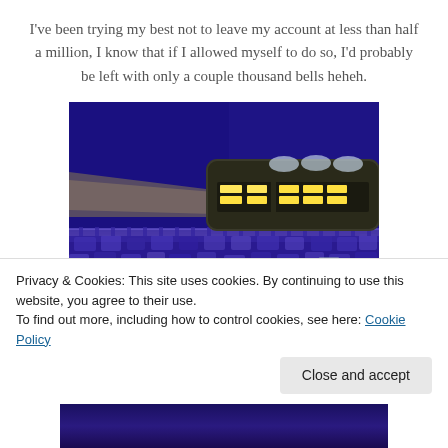I've been trying my best not to leave my account at less than half a million, I know that if I allowed myself to do so, I'd probably be left with only a couple thousand bells heheh.
[Figure (photo): Screenshot from Animal Crossing video game showing a train station building at night with glowing yellow windows and blue/purple background with flower patterns on the ground.]
Privacy & Cookies: This site uses cookies. By continuing to use this website, you agree to their use.
To find out more, including how to control cookies, see here: Cookie Policy